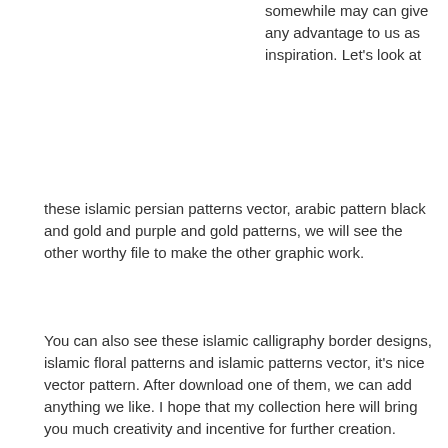somewhile may can give any advantage to us as inspiration. Let's look at these islamic persian patterns vector, arabic pattern black and gold and purple and gold patterns, we will see the other worthy file to make the other graphic work.
You can also see these islamic calligraphy border designs, islamic floral patterns and islamic patterns vector, it's nice vector pattern. After download one of them, we can add anything we like. I hope that my collection here will bring you much creativity and incentive for further creation.
I just show the source link on each pictures, and we can to get the original file on it. Let's hit share button you want, so your friends, family, teamwork or also your community can visit here too.
Designing Tips:
Keep it simple, but do not forget your bases. Make sure that each item has a reason to be in the design and keep the number of fonts, colors, shapes and frames to a minimum. Use contrasting color combinations tonal text is crisp and easy to read